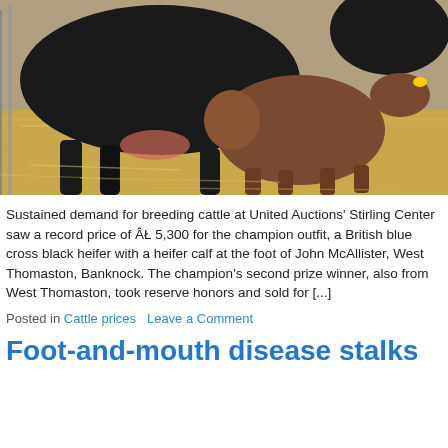[Figure (photo): A large black cow and a brown calf standing on straw/hay bedding in a pen. The calf is facing away showing its rear, and the larger black cow is beside it.]
Sustained demand for breeding cattle at United Auctions' Stirling Center saw a record price of ÂŁ 5,300 for the champion outfit, a British blue cross black heifer with a heifer calf at the foot of John McAllister, West Thomaston, Banknock. The champion's second prize winner, also from West Thomaston, took reserve honors and sold for [...]
Posted in Cattle prices   Leave a Comment
Foot-and-mouth disease stalks...